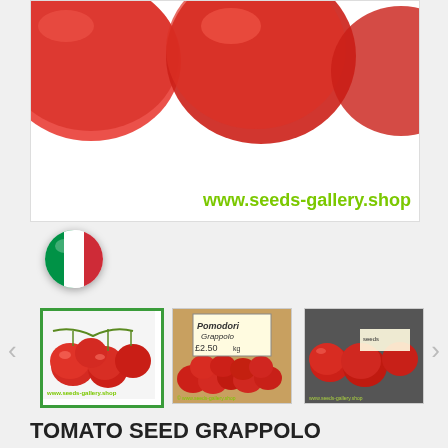[Figure (photo): Close-up photo of red tomatoes with www.seeds-gallery.shop watermark and Italian flag icon overlay]
[Figure (photo): Thumbnail 1: Cherry tomatoes on vine with www.seeds-gallery.shop watermark, selected/active]
[Figure (photo): Thumbnail 2: Market display of tomatoes with sign reading Pomodori Grappolo £2.50 kg]
[Figure (photo): Thumbnail 3: Close-up of small red tomatoes]
TOMATO SEED GRAPPOLO
2,25 €
Tomato Seed GRAPPOLO
Price for Package of 10 seeds